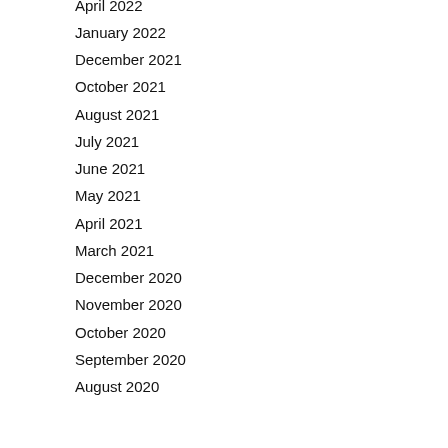April 2022
January 2022
December 2021
October 2021
August 2021
July 2021
June 2021
May 2021
April 2021
March 2021
December 2020
November 2020
October 2020
September 2020
August 2020